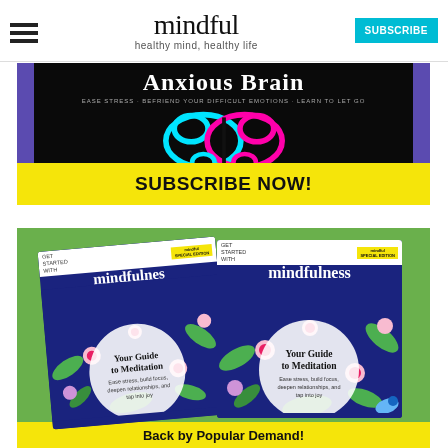mindful — healthy mind, healthy life — SUBSCRIBE
[Figure (advertisement): Advertisement banner for 'Anxious Brain' book/magazine with colorful brain graphic on black background and yellow 'SUBSCRIBE NOW!' call-to-action bar]
[Figure (advertisement): Advertisement banner for Mindful 'Get Started with Mindfulness' special edition showing two magazine covers with 'Your Guide to Meditation' on a green background, with yellow 'Back by Popular Demand!' bar at bottom]